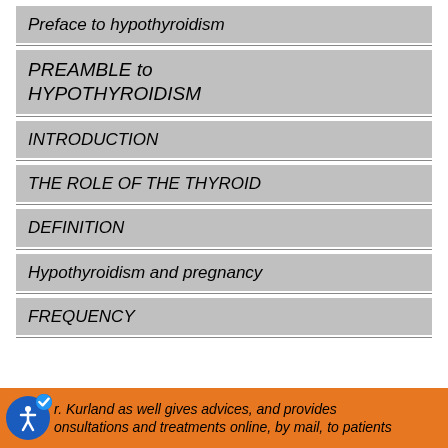Preface to hypothyroidism
PREAMBLE to HYPOTHYROIDISM
INTRODUCTION
THE ROLE OF THE THYROID
DEFINITION
Hypothyroidism and pregnancy
FREQUENCY
Dr. Kurland as well gives advices, and provides consultations and treatments online, by mail, to patients